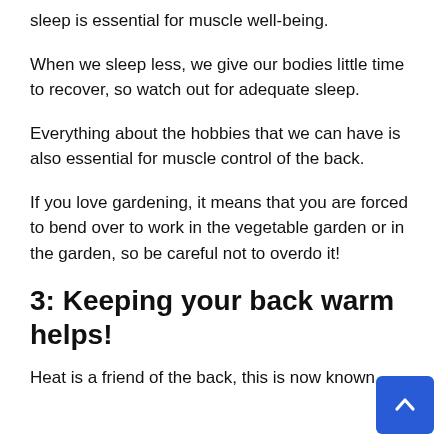sleep is essential for muscle well-being.
When we sleep less, we give our bodies little time to recover, so watch out for adequate sleep.
Everything about the hobbies that we can have is also essential for muscle control of the back.
If you love gardening, it means that you are forced to bend over to work in the vegetable garden or in the garden, so be careful not to overdo it!
3: Keeping your back warm helps!
Heat is a friend of the back, this is now known